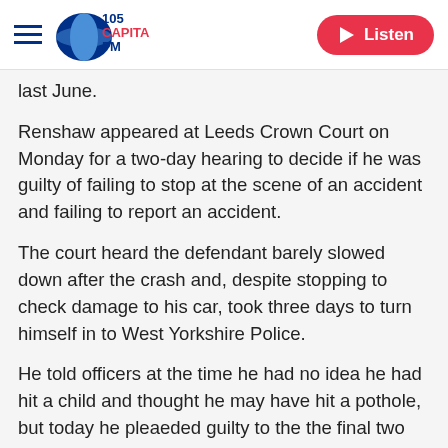Capital FM 105 | Listen
last June.
Renshaw appeared at Leeds Crown Court on Monday for a two-day hearing to decide if he was guilty of failing to stop at the scene of an accident and failing to report an accident.
The court heard the defendant barely slowed down after the crash and, despite stopping to check damage to his car, took three days to turn himself in to West Yorkshire Police.
He told officers at the time he had no idea he had hit a child and thought he may have hit a pothole, but today he pleaeded guilty to the the final two allegations.
[Figure (other): Grey advertisement placeholder banner]
The court was told the speed of the Fiat in the 30mph limit was 57mph and Owen was carried 23 metres down the